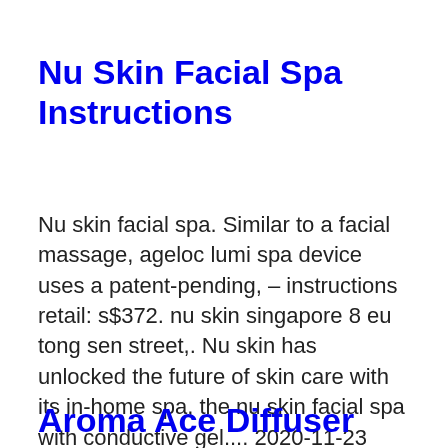Nu Skin Facial Spa Instructions
Nu skin facial spa. Similar to a facial massage, ageloc lumi spa device uses a patent-pending, – instructions retail: s$372. nu skin singapore 8 eu tong sen street,. Nu skin has unlocked the future of skin care with its in-home spa, the nu skin facial spa with conductive gel.... 2020-11-23
Aroma Ace Diffuser